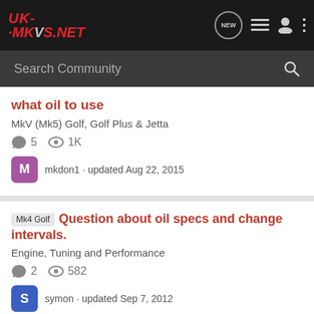UK-MKVS.NET — navigation header with logo and icons
Search Community
what oil to use
MkV (Mk5) Golf, Golf Plus & Jetta
5 comments, 1K views
mkdon1 · updated Aug 22, 2015
Mk4 Golf Question about oil specs and change intervals.
Engine, Tuning and Performance
2 comments, 582 views
symon · updated Sep 7, 2012
Mk4 Golf Major Service Details? & best oil for 1.8T